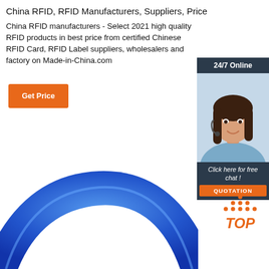China RFID, RFID Manufacturers, Suppliers, Price
China RFID manufacturers - Select 2021 high quality RFID products in best price from certified Chinese RFID Card, RFID Label suppliers, wholesalers and factory on Made-in-China.com
[Figure (other): Orange 'Get Price' button]
[Figure (other): 24/7 Online chat widget with photo of woman wearing headset, 'Click here for free chat!' text, and orange QUOTATION button]
[Figure (other): Blue RFID silicone wristband product image showing arc shape at bottom of page]
[Figure (logo): TOP logo with orange dots arranged in triangle above the word TOP]